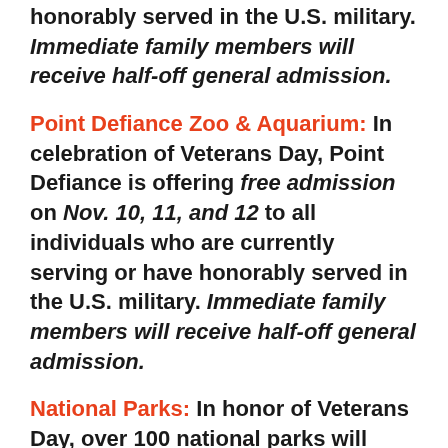honorably served in the U.S. military. Immediate family members will receive half-off general admission.
Point Defiance Zoo & Aquarium: In celebration of Veterans Day, Point Defiance is offering free admission on Nov. 10, 11, and 12 to all individuals who are currently serving or have honorably served in the U.S. military. Immediate family members will receive half-off general admission.
National Parks: In honor of Veterans Day, over 100 national parks will waive entrance fees on November 11.
B&Bs for Vets: Inns and B&Bs throughout the U.S.